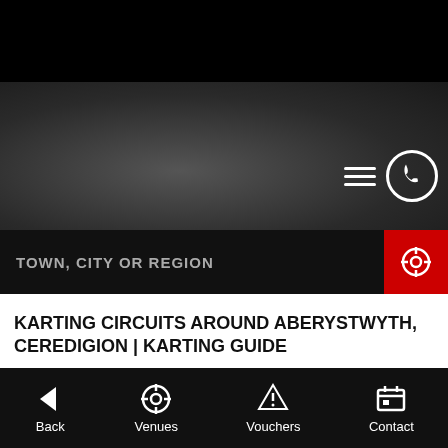[Figure (screenshot): Mobile app header with dark textured background, hamburger menu icon and phone icon in top right]
TOWN, CITY OR REGION
KARTING CIRCUITS AROUND ABERYSTWYTH, CEREDIGION | KARTING GUIDE
CHESTER, CHESHIRE
Back  Venues  Vouchers  Contact